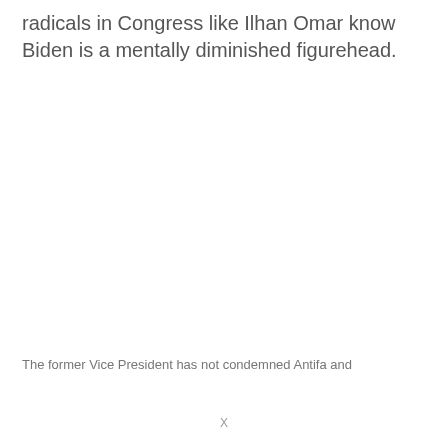radicals in Congress like Ilhan Omar know Biden is a mentally diminished figurehead.
The former Vice President has not condemned Antifa and
X